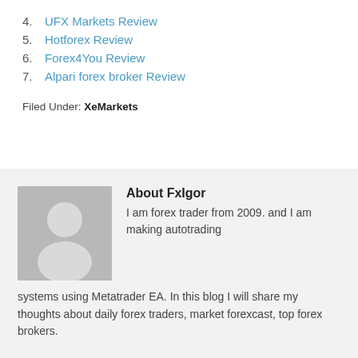4. UFX Markets Review
5. Hotforex Review
6. Forex4You Review
7. Alpari forex broker Review
Filed Under: XeMarkets
About FxIgor
I am forex trader from 2009. and I am making autotrading systems using Metatrader EA. In this blog I will share my thoughts about daily forex traders, market forexcast, top forex brokers.